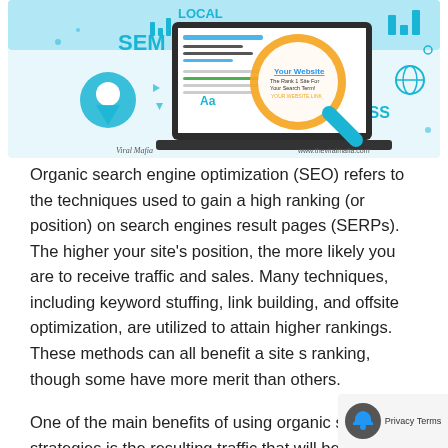[Figure (infographic): SEO infographic showing a laptop with a magnifying glass highlighting 'Your Website - The Rank 1 Site For Your Search Term! YOUR.WEBSITE.LINK', surrounded by icons for LOCAL, SEM, BUSINESS, analytics charts, location pin, globe, and other digital marketing symbols. Credited to Viral Mafia and www.theviralmafia.com.]
Organic search engine optimization (SEO) refers to the techniques used to gain a high ranking (or position) on search engines result pages (SERPs). The higher your site's position, the more likely you are to receive traffic and sales. Many techniques, including keyword stuffing, link building, and offsite optimization, are utilized to attain higher rankings. These methods can all benefit a site s ranking, though some have more merit than others.
One of the main benefits of using organic seo strategies is the resulting traffic that will be received.